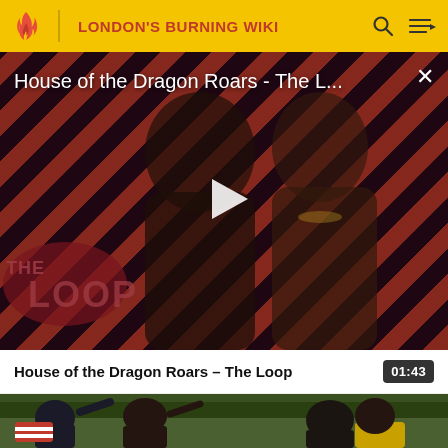LONDON'S BURNING WIKI
[Figure (screenshot): Video player showing 'House of the Dragon Roars - The L...' with diagonal red and dark stripe background, two figures (armored character and woman), THE LOOP logo, play button overlay, and close X button]
House of the Dragon Roars – The Loop  01:43
[Figure (screenshot): Video thumbnail showing crowd scene with people, striped clothing visible, outdoor setting with trees in background]